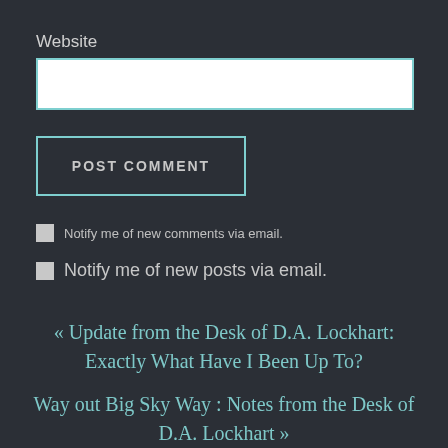Website
POST COMMENT
Notify me of new comments via email.
Notify me of new posts via email.
« Update from the Desk of D.A. Lockhart: Exactly What Have I Been Up To?
Way out Big Sky Way : Notes from the Desk of D.A. Lockhart »